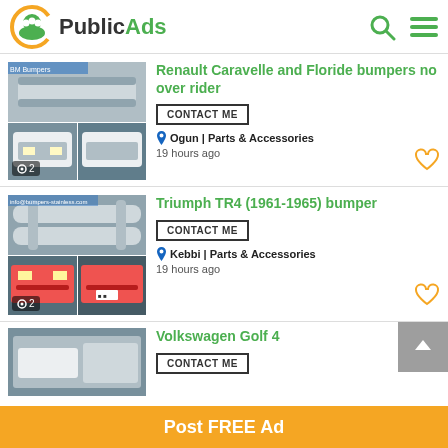[Figure (logo): PublicAds logo with orange headphones icon and green 'PublicAds' text]
Renault Caravelle and Floride bumpers no over rider
CONTACT ME
Ogun | Parts & Accessories
19 hours ago
[Figure (photo): Car bumpers and white classic cars - Renault Caravelle/Floride. Photo count: 2]
Triumph TR4 (1961-1965) bumper
CONTACT ME
Kebbi | Parts & Accessories
19 hours ago
[Figure (photo): Triumph TR4 bumpers and red classic cars. Photo count: 2]
Volkswagen Golf 4
CONTACT ME
Post FREE Ad